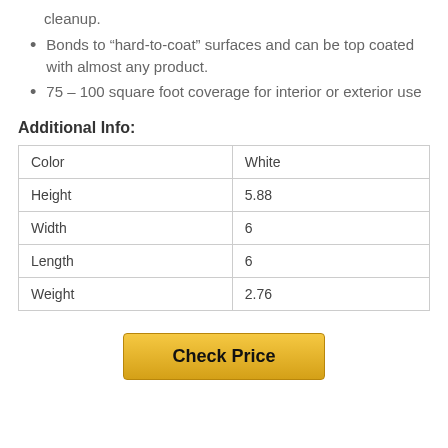cleanup.
Bonds to “hard-to-coat” surfaces and can be top coated with almost any product.
75 – 100 square foot coverage for interior or exterior use
Additional Info:
| Color | White |
| Height | 5.88 |
| Width | 6 |
| Length | 6 |
| Weight | 2.76 |
Check Price